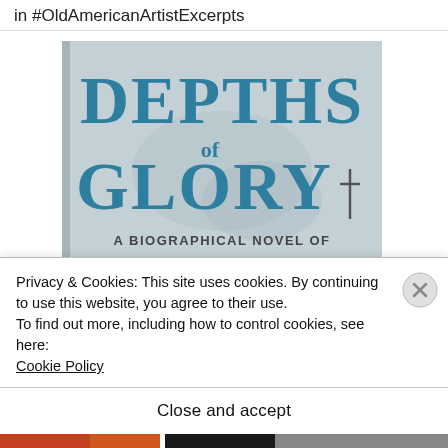in #OldAmericanArtistExcerpts
[Figure (photo): Book cover of 'Depths of Glory: A Biographical Novel of' — teal/blue lettering on a light grey-blue background]
Privacy & Cookies: This site uses cookies. By continuing to use this website, you agree to their use.
To find out more, including how to control cookies, see here: Cookie Policy
Close and accept